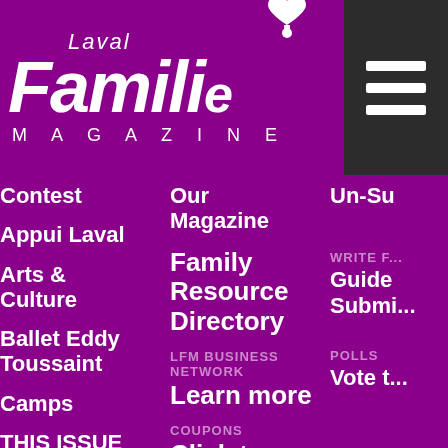[Figure (logo): Laval Famille Magazine logo in white on purple background with heart icon]
[Figure (other): Dark grey hamburger menu button with three white horizontal lines]
Contest
Our Magazine
Un-Su
Appui Laval
Family Resource Directory
WRITE F... Guide Submi...
Arts & Culture
LFM BUSINESS NETWORK
POLLS
Ballet Eddy Toussaint
Learn more
Vote t...
Camps
COUPONS
THIS ISSUE
Click to save!
MORE...